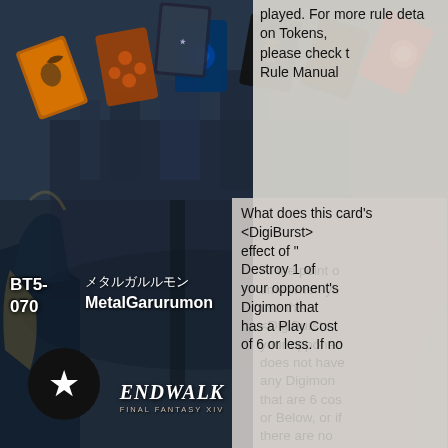[Figure (screenshot): Screenshot of a card game app/website showing trading cards fanned out at the top, a fantasy city background illustration (FFXIV Endwalker), character artwork on the left and right edges, a star/favorite button, and Endwalker FINAL FANTASY XIV logo text in the lower center.]
played. For more rule details on Tokens, please check the Rule Manual
BT5-070  メタルガルルモン MetalGarurumon
What does this card's <DigiBurst> effect of "Destroy 1 of your opponent's Digimon that has a Play Cost of 6 or less. If no
At the point of time when you use this <DigiBurst>, your opponent does not have any Digimon that are 6 cost or Below, or if there are no Digimon that can be destroyed by this effect, It